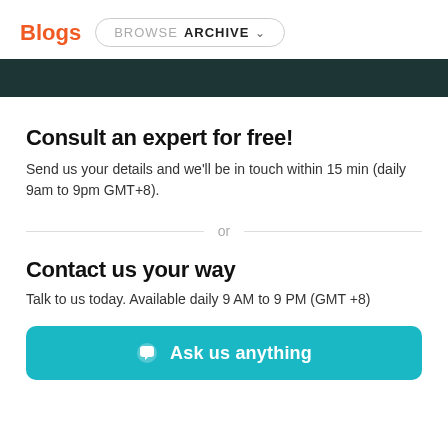Blogs  BROWSE ARCHIVE
[Figure (other): Dark teal/green horizontal banner strip]
Consult an expert for free!
Send us your details and we'll be in touch within 15 min (daily 9am to 9pm GMT+8).
or
Contact us your way
Talk to us today. Available daily 9 AM to 9 PM (GMT +8)
[Figure (other): Teal button with chat icon and text 'Ask us anything']